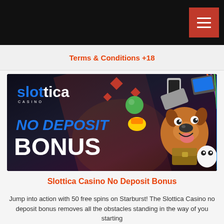Navigation bar with hamburger menu
Terms & Conditions +18
[Figure (screenshot): Slottica Casino No Deposit Bonus promotional banner showing the Slottica Casino logo, cartoon dog character, floating casino-themed objects, and text reading 'NO DEPOSIT BONUS' on a dark background]
Slottica Casino No Deposit Bonus
Jump into action with 50 free spins on Starburst! The Slottica Casino no deposit bonus removes all the obstacles standing in the way of you starting